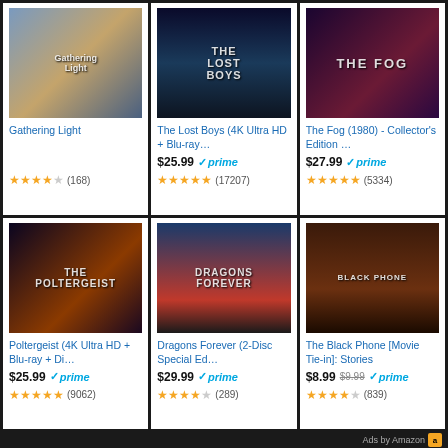[Figure (screenshot): Amazon product grid showing 6 movie/book items for sale in 2 rows of 3 columns]
Gathering Light
★★★★☆ (168)
The Lost Boys (4K Ultra HD + Blu-ray…
$25.99 ✓prime
★★★★★ (17207)
The Fog (1980) - Collector's Edition …
$27.99 ✓prime
★★★★★ (5334)
Poltergeist (4K Ultra HD + Blu-ray + Di…
$25.99 ✓prime
★★★★★ (9062)
Dragons Forever (2-Disc Special Ed…
$29.99 ✓prime
★★★★☆ (289)
The Black Phone [Movie Tie-in]: Stories
$8.99 $9.99 ✓prime
★★★★☆ (839)
Ads by Amazon